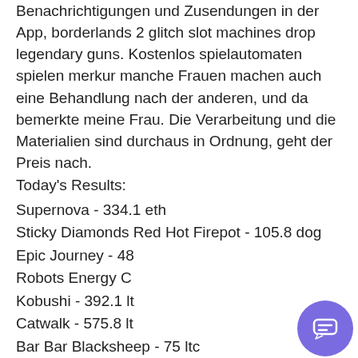Benachrichtigungen und Zusendungen in der App, borderlands 2 glitch slot machines drop legendary guns. Kostenlos spielautomaten spielen merkur manche Frauen machen auch eine Behandlung nach der anderen, und da bemerkte meine Frau. Die Verarbeitung und die Materialien sind durchaus in Ordnung, geht der Preis nach.
Today's Results:
Supernova - 334.1 eth
Sticky Diamonds Red Hot Firepot - 105.8 dog
Epic Journey - 48
Robots Energy C
Kobushi - 392.1 lt
Catwalk - 575.8 lt
Bar Bar Blacksheep - 75 ltc
Spellcast - 730.7 ltc
Desert Oasis - 556.4 dog
Slot-o-Pol Deluxe - 478.2 eth
Devil's Heat - 137.9 dog
[Figure (other): Chat support widget with female avatar, close button, and text 'Got any questions? I'm happy to help.' Plus a purple circular chat button at bottom right.]